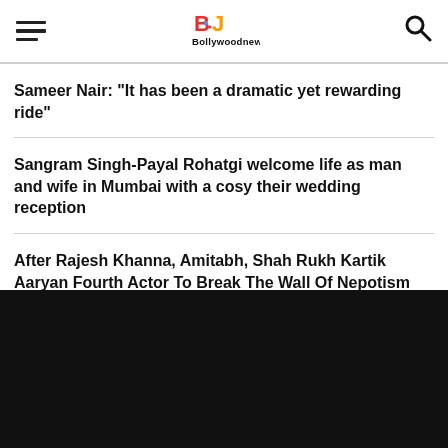Bollywoodnews
Sameer Nair: “It has been a dramatic yet rewarding ride”
Sangram Singh-Payal Rohatgi welcome life as man and wife in Mumbai with a cosy their wedding reception
After Rajesh Khanna, Amitabh, Shah Rukh Kartik Aaryan Fourth Actor To Break The Wall Of Nepotism